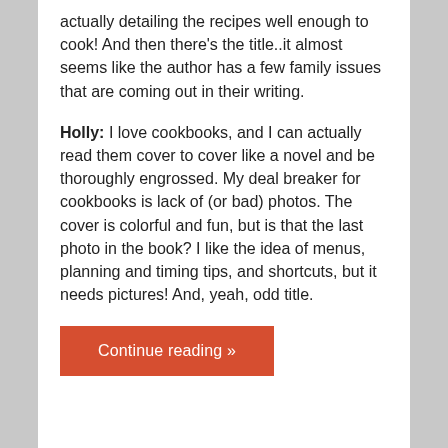actually detailing the recipes well enough to cook! And then there’s the title..it almost seems like the author has a few family issues that are coming out in their writing.
Holly: I love cookbooks, and I can actually read them cover to cover like a novel and be thoroughly engrossed. My deal breaker for cookbooks is lack of (or bad) photos. The cover is colorful and fun, but is that the last photo in the book? I like the idea of menus, planning and timing tips, and shortcuts, but it needs pictures! And, yeah, odd title.
Continue reading »